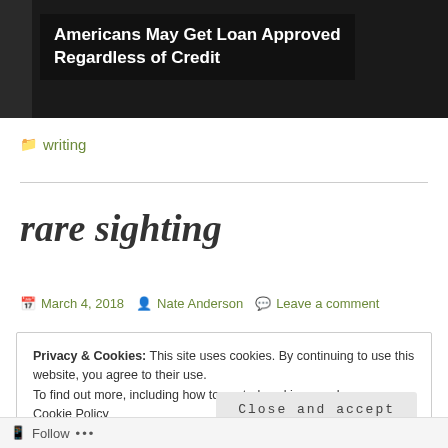[Figure (screenshot): Dark advertisement banner with text 'Americans May Get Loan Approved Regardless of Credit' on black background]
writing
rare sighting
March 4, 2018  Nate Anderson  Leave a comment
Privacy & Cookies: This site uses cookies. By continuing to use this website, you agree to their use.
To find out more, including how to control cookies, see here:
Cookie Policy
Close and accept
Follow